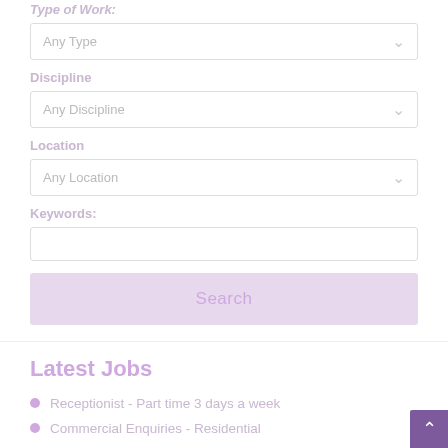Type of Work:
Any Type
Discipline
Any Discipline
Location
Any Location
Keywords:
Search
Latest Jobs
Receptionist - Part time 3 days a week
Commercial Enquiries - Residential